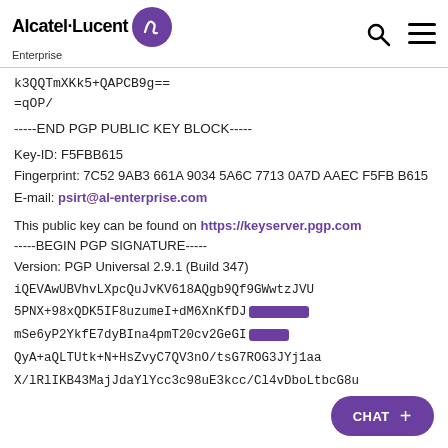Alcatel·Lucent Enterprise
k3QQTmXKk5+QAPCB9g==
=qOP/
-----END PGP PUBLIC KEY BLOCK-----
Key-ID: F5FBB615
Fingerprint: 7C52 9AB3 661A 9034 5A6C 7713 0A7D AAEC F5FB B615
E-mail: psirt@al-enterprise.com
This public key can be found on https://keyserver.pgp.com
-----BEGIN PGP SIGNATURE-----
Version: PGP Universal 2.9.1 (Build 347)
iQEVAwUBVhvLXpcQuJvKV618AQgb9Qf9GWwtzJVU
5PNX+98xQDK5IF8uzumeI+dM6XnKfDJ...
mSe6yP2YkfE7dyBIna4pmT20cv2GeGI...
QyA+aQLTUtk+N+HsZvyC7QV3nO/tsG7ROG3JYj1aa
X/lRlIKB43MajJdaYlYcc3c98uE3kcc/Cl4vDboLtbcG8u